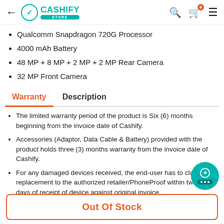← CASHIFY STORE [search] [cart] [menu]
Qualcomm Snapdragon 720G Processor
4000 mAh Battery
48 MP + 8 MP + 2 MP + 2 MP Rear Camera
32 MP Front Camera
Warranty | Description
The limited warranty period of the product is Six (6) months beginning from the invoice date of Cashify.
Accessories (Adaptor, Data Cable & Battery) provided with the product holds three (3) months warranty from the invoice date of Cashify.
For any damaged devices received, the end-user has to claim the replacement to the authorized retailer/PhoneProof within two (2) days of receipt of device against original invoice.
Out Of Stock